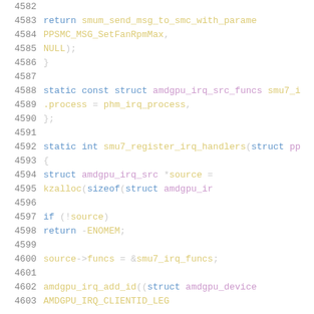[Figure (screenshot): Source code listing showing C code lines 4582-4603, a Linux kernel driver file with function definitions for SMU7 GPU power management including return statements, struct definitions, and IRQ handler registration.]